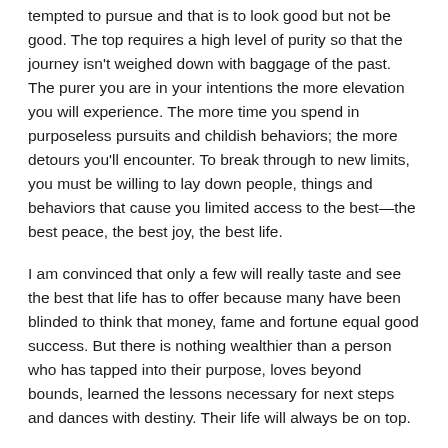tempted to pursue and that is to look good but not be good. The top requires a high level of purity so that the journey isn't weighed down with baggage of the past. The purer you are in your intentions the more elevation you will experience. The more time you spend in purposeless pursuits and childish behaviors; the more detours you'll encounter. To break through to new limits, you must be willing to lay down people, things and behaviors that cause you limited access to the best—the best peace, the best joy, the best life.
I am convinced that only a few will really taste and see the best that life has to offer because many have been blinded to think that money, fame and fortune equal good success. But there is nothing wealthier than a person who has tapped into their purpose, loves beyond bounds, learned the lessons necessary for next steps and dances with destiny. Their life will always be on top.